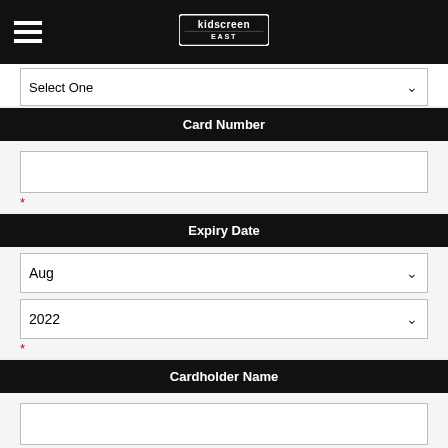kidscreen east [logo] + hamburger menu
Card Number
* (required)
Expiry Date
Aug [dropdown]
2022 [dropdown]
* (required)
Cardholder Name
* (required)
If the name on credit card is someone else, then what is your relationship to this person?
Please indicate how you learned about this event *
Select One [dropdown]